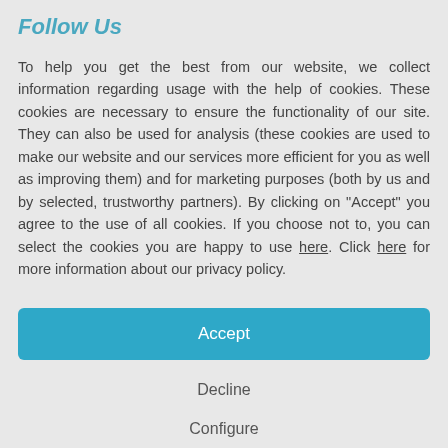Follow Us
To help you get the best from our website, we collect information regarding usage with the help of cookies. These cookies are necessary to ensure the functionality of our site. They can also be used for analysis (these cookies are used to make our website and our services more efficient for you as well as improving them) and for marketing purposes (both by us and by selected, trustworthy partners). By clicking on "Accept" you agree to the use of all cookies. If you choose not to, you can select the cookies you are happy to use here. Click here for more information about our privacy policy.
Accept
Decline
Configure